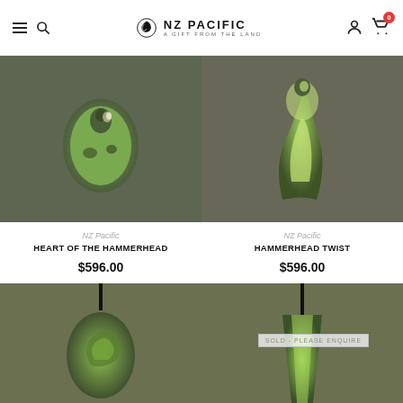NZ Pacific — A Gift From The Land
[Figure (photo): Green jade/pounamu carved pendant (Heart of the Hammerhead) on dark background]
NZ Pacific
HEART OF THE HAMMERHEAD
$596.00
[Figure (photo): Green jade/pounamu carved pendant (Hammerhead Twist) on dark background]
NZ Pacific
HAMMERHEAD TWIST
$596.00
[Figure (photo): Green pounamu carved pendant with cord on grey background]
[Figure (photo): Green pounamu carved pendant with cord on grey background, sold item with SOLD - PLEASE ENQUIRE badge]